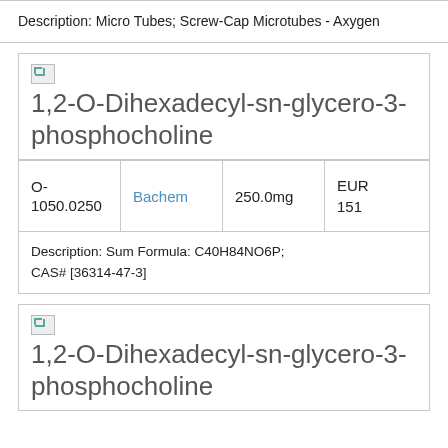Description: Micro Tubes; Screw-Cap Microtubes - Axygen
1,2-O-Dihexadecyl-sn-glycero-3-phosphocholine
|  | Supplier | Amount | Price |
| --- | --- | --- | --- |
| O-1050.0250 | Bachem | 250.0mg | EUR 151 |
Description: Sum Formula: C40H84NO6P; CAS# [36314-47-3]
1,2-O-Dihexadecyl-sn-glycero-3-phosphocholine